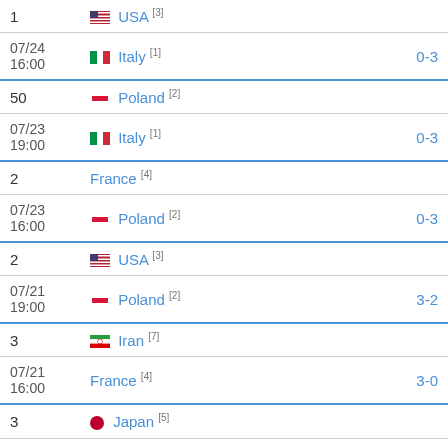| # | Team | Score |
| --- | --- | --- |
| 1 | USA [3] |  |
| 07/24 16:00 | Italy [1] | 0-3 |
| 50 | Poland [2] |  |
| 07/23 19:00 | Italy [1] | 0-3 |
| 2 | France [4] |  |
| 07/23 16:00 | Poland [2] | 0-3 |
| 2 | USA [3] |  |
| 07/21 19:00 | Poland [2] | 3-2 |
| 3 | Iran [7] |  |
| 07/21 16:00 | France [4] | 3-0 |
| 3 | Japan [5] |  |
| 07/20 19:00 | Italy [1] | 3-1 |
| 3 | Netherlands [8] |  |
| 07/20 16:00 | USA [3] | 3-1 |